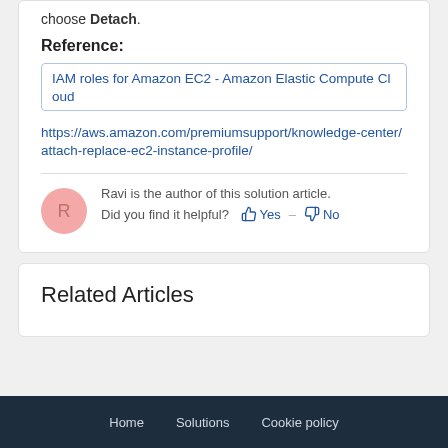choose Detach.
Reference:
IAM roles for Amazon EC2 - Amazon Elastic Compute Cloud
https://aws.amazon.com/premiumsupport/knowledge-center/attach-replace-ec2-instance-profile/
Ravi is the author of this solution article.
Did you find it helpful? Yes No
Related Articles
Home   Solutions   Cookie policy